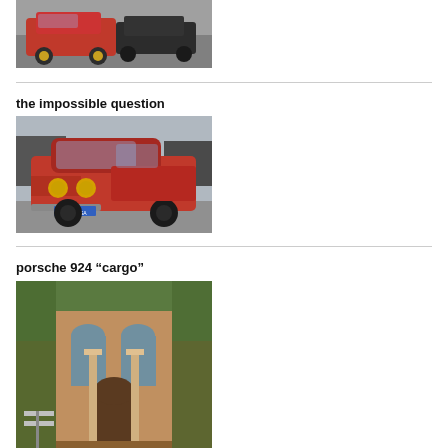[Figure (photo): Red Lamborghini Countach and black sports car driving on a road, photographed from front-left angle]
the impossible question
[Figure (photo): Classic red Alfa Romeo coupe parked on a street, front view with yellow headlights, license plate reading TAZORSA]
porsche 924 “cargo”
[Figure (photo): Brick building with arched windows, surrounded by ivy, with street signs in foreground]